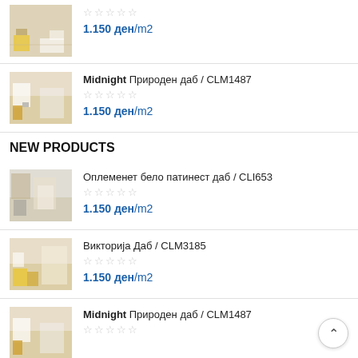1.150 ден/m2 (price for first partially visible product)
Midnight Природен даб / CLM1487 — 1.150 ден/m2
NEW PRODUCTS
Оплеменет бело патинест даб / CLI653 — 1.150 ден/m2
Викторија Даб / CLM3185 — 1.150 ден/m2
Midnight Природен даб / CLM1487 (partially visible)